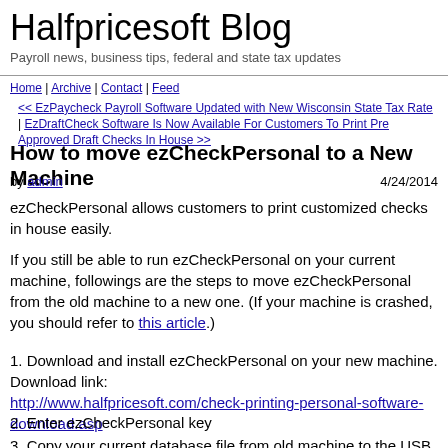Halfpricesoft Blog
Payroll news, business tips, federal and state tax updates
Home | Archive | Contact | Feed
<< EzPaycheck Payroll Software Updated with New Wisconsin State Tax Rate | EzDraftCheck Software Is Now Available For Customers To Print Pre Approved Draft Checks In House >>
How to move ezCheckPersonal to a New Machine
by admin   4/24/2014
ezCheckPersonal allows customers to print customized checks in house easily.
If you still be able to run ezCheckPersonal on your current machine, followings are the steps to move ezCheckPersonal from the old machine to a new one. (If your machine is crashed, you should refer to this article.)
1. Download and install ezCheckPersonal on your new machine. Download link: http://www.halfpricesoft.com/check-printing-personal-software-download.asp
2. Enter ezCheckPersonal key
3. Copy your current database file from old machine to the USB